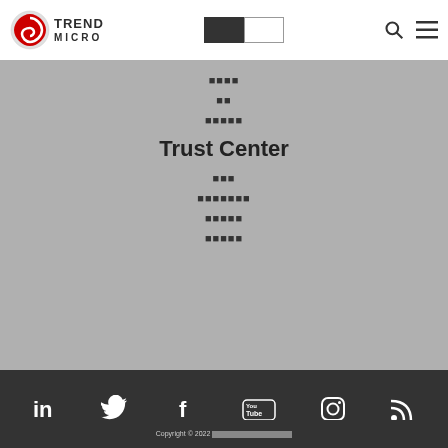[Figure (logo): Trend Micro logo with red swirl icon and TREND MICRO text]
[Figure (other): Toggle switch UI element, dark left half and white right half]
[Figure (other): Search icon (magnifying glass) and hamburger menu icon]
████
██
█████
Trust Center
███
███████
█████
█████
[Figure (other): Social media icons row: LinkedIn, Twitter, Facebook, YouTube, Instagram, RSS]
Copyright © 2022 ████████████████